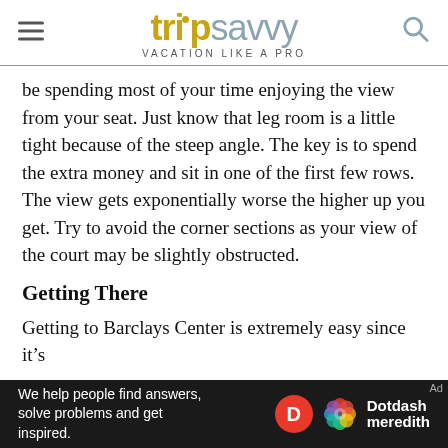tripsavvy VACATION LIKE A PRO
be spending most of your time enjoying the view from your seat. Just know that leg room is a little tight because of the steep angle. The key is to spend the extra money and sit in one of the first few rows. The view gets exponentially worse the higher up you get. Try to avoid the corner sections as your view of the court may be slightly obstructed.
Getting There
Getting to Barclays Center is extremely easy since it’s
[Figure (logo): Dotdash Meredith advertisement banner at bottom of page with text 'We help people find answers, solve problems and get inspired.']